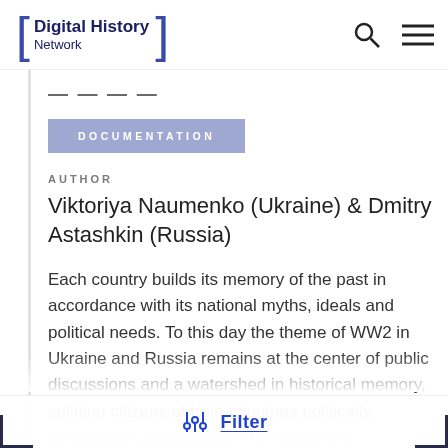Digital History Network
DOCUMENTATION
AUTHOR
Viktoriya Naumenko (Ukraine) & Dmitry Astashkin (Russia)
Each country builds its memory of the past in accordance with its national myths, ideals and political needs. To this day the theme of WW2 in Ukraine and Russia remains at the center of public discussions and a watershed in historical memory, splitting citizens of both countries politically, ideologically and morally. The majority of movements and parties reflect the...